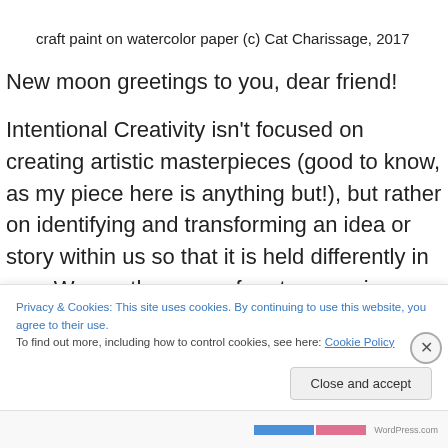craft paint on watercolor paper (c) Cat Charissage, 2017
New moon greetings to you, dear friend!
Intentional Creativity isn’t focused on creating artistic masterpieces (good to know, as my piece here is anything but!), but rather on identifying and transforming an idea or story within us so that it is held differently in us.   We are then more free to move in our everyday lives without being
Privacy & Cookies: This site uses cookies. By continuing to use this website, you agree to their use.
To find out more, including how to control cookies, see here: Cookie Policy
Close and accept